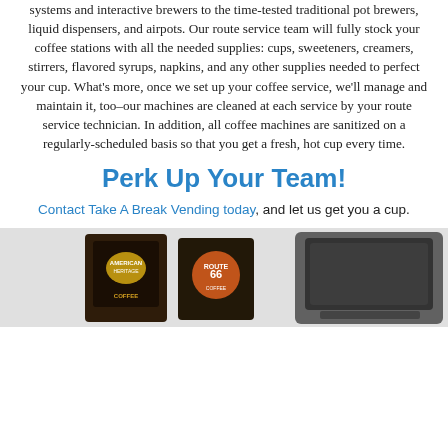systems and interactive brewers to the time-tested traditional pot brewers, liquid dispensers, and airpots. Our route service team will fully stock your coffee stations with all the needed supplies: cups, sweeteners, creamers, stirrers, flavored syrups, napkins, and any other supplies needed to perfect your cup. What's more, once we set up your coffee service, we'll manage and maintain it, too–our machines are cleaned at each service by your route service technician. In addition, all coffee machines are sanitized on a regularly-scheduled basis so that you get a fresh, hot cup every time.
Perk Up Your Team!
Contact Take A Break Vending today, and let us get you a cup.
[Figure (photo): Photo showing two coffee product boxes on the left (dark packaging with badges/logos including Route 66 branding) and a coffee brewing machine on the right with a dark screen/display panel, set against a light gray background.]